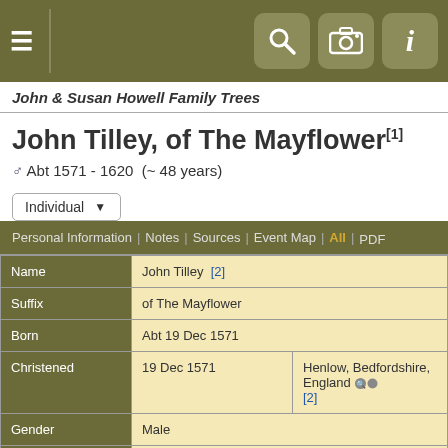John & Susan Howell Family Trees
John Tilley, of The Mayflower[1]
♂ Abt 1571 - 1620  (~ 48 years)
| Field | Value |
| --- | --- |
| Name | John Tilley  [2] |
| Suffix | of The Mayflower |
| Born | Abt 19 Dec 1571 |
| Christened | 19 Dec 1571 | Henlow, Bedfordshire, England ⚲ [2] |
| Gender | Male |
| Lived in | Leiden, Holland ⚲  [2] |
| Immigrated | America ⚲ |